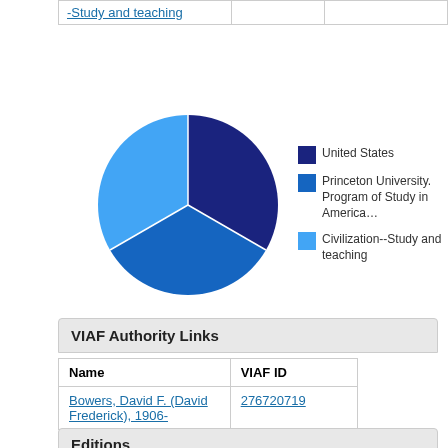|  |  |  |
| --- | --- | --- |
| -Study and teaching |  |  |
[Figure (pie-chart): ]
VIAF Authority Links
| Name | VIAF ID |
| --- | --- |
| Bowers, David F. (David Frederick), 1906- | 276720719 |
Editions